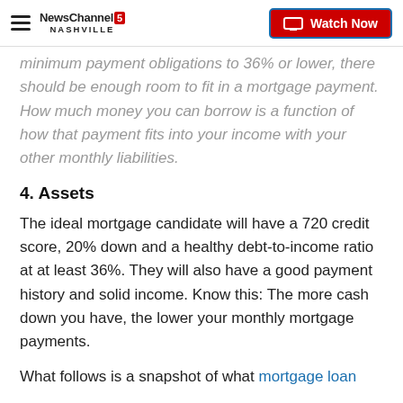NewsChannel 5 Nashville — Watch Now
minimum payment obligations to 36% or lower, there should be enough room to fit in a mortgage payment. How much money you can borrow is a function of how that payment fits into your income with your other monthly liabilities.
4. Assets
The ideal mortgage candidate will have a 720 credit score, 20% down and a healthy debt-to-income ratio at at least 36%. They will also have a good payment history and solid income. Know this: The more cash down you have, the lower your monthly mortgage payments.
What follows is a snapshot of what mortgage loan